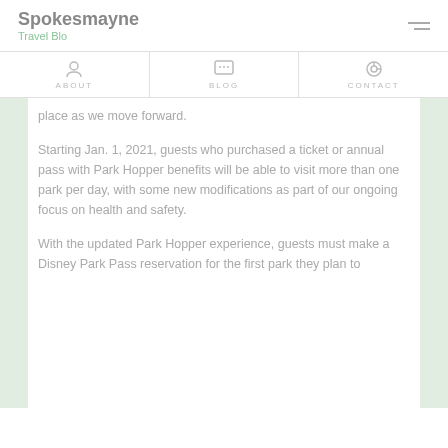Spokesmayne
Travel Blo
ABOUT  BLOG  CONTACT
place as we move forward.
Starting Jan. 1, 2021, guests who purchased a ticket or annual pass with Park Hopper benefits will be able to visit more than one park per day, with some new modifications as part of our ongoing focus on health and safety.
With the updated Park Hopper experience, guests must make a Disney Park Pass reservation for the first park they plan to